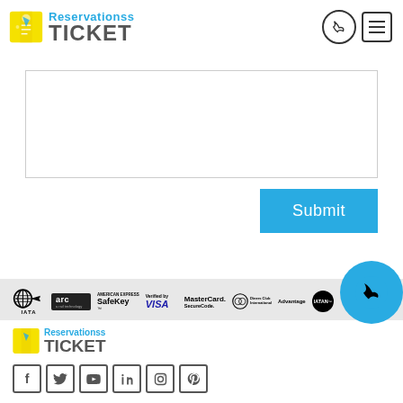Reservationss TICKET
[Figure (screenshot): Text area input box (empty)]
[Figure (screenshot): Submit button in cyan/blue]
[Figure (screenshot): Floating phone call button (cyan circle)]
[Figure (infographic): Trust/payment logos: IATA, arc, American Express SafeKey, Verified by VISA, MasterCard SecureCode, Diners Club International, Advantage, IATAN]
[Figure (logo): Reservationss TICKET logo in footer]
[Figure (infographic): Social media icons: Facebook, Twitter, YouTube, LinkedIn, Instagram, Pinterest]